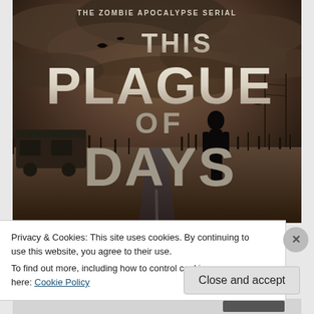[Figure (illustration): Book cover for 'This Plague of Days' - The Zombie Apocalypse Serial. Dark sepia-toned image showing a lone silhouetted figure standing on a desolate road stretching to the horizon, with dramatic stormy clouds, birds in the sky, and an abandoned vehicle on the left side. Large stylized white/grey text displays the title.]
Privacy & Cookies: This site uses cookies. By continuing to use this website, you agree to their use.
To find out more, including how to control cookies, see here: Cookie Policy
Close and accept